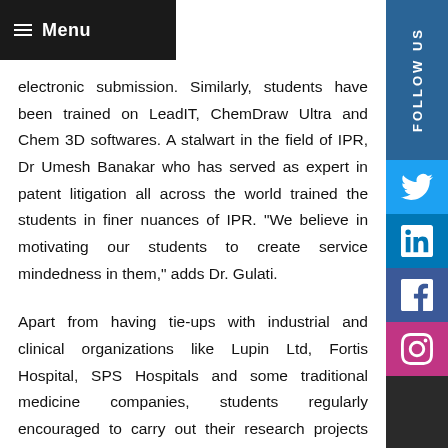Menu
electronic submission. Similarly, students have been trained on LeadIT, ChemDraw Ultra and Chem 3D softwares. A stalwart in the field of IPR, Dr Umesh Banakar who has served as expert in patent litigation all across the world trained the students in finer nuances of IPR. "We believe in motivating our students to create service mindedness in them," adds Dr. Gulati.
Apart from having tie-ups with industrial and clinical organizations like Lupin Ltd, Fortis Hospital, SPS Hospitals and some traditional medicine companies, students regularly encouraged to carry out their research projects under the collaborative guidance of supervisors from Pharma industries like Biocon, MacLeods,